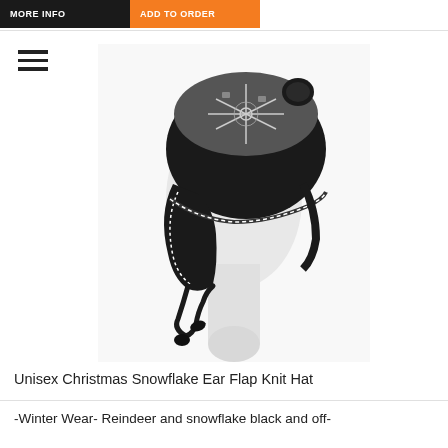[Figure (photo): Product photo of a Unisex Christmas Snowflake Ear Flap Knit Hat displayed on a white mannequin head. The hat is black with white snowflake and reindeer pattern on top, with black ear flaps and braided black ties hanging down.]
Unisex Christmas Snowflake Ear Flap Knit Hat
-Winter Wear- Reindeer and snowflake black and off-